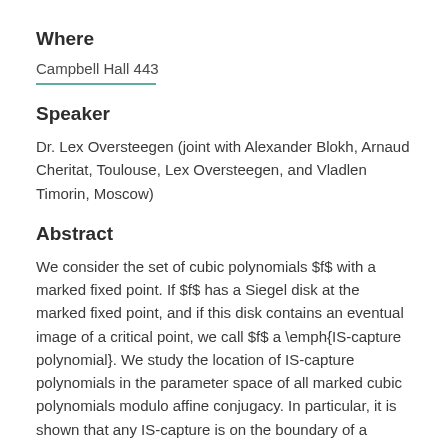Where
Campbell Hall 443
Speaker
Dr. Lex Oversteegen (joint with Alexander Blokh, Arnaud Cheritat, Toulouse, Lex Oversteegen, and Vladlen Timorin, Moscow)
Abstract
We consider the set of cubic polynomials $f$ with a marked fixed point. If $f$ has a Siegel disk at the marked fixed point, and if this disk contains an eventual image of a critical point, we call $f$ a \emph{IS-capture polynomial}. We study the location of IS-capture polynomials in the parameter space of all marked cubic polynomials modulo affine conjugacy. In particular, it is shown that any IS-capture is on the boundary of a